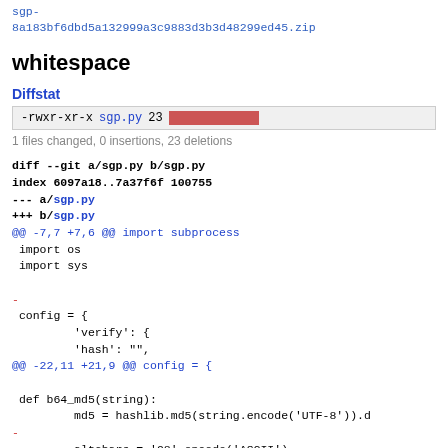sgp-8a183bf6dbd5a132999a3c9883d3b3d48299ed45.zip
whitespace
Diffstat
-rwxr-xr-x sgp.py 23 [bar]
1 files changed, 0 insertions, 23 deletions
diff --git a/sgp.py b/sgp.py
index 6097a18..7a37f6f 100755
--- a/sgp.py
+++ b/sgp.py
@@ -7,7 +7,6 @@ import subprocess
 import os
 import sys

-
 config = {
         'verify': {
         'hash': "",
@@ -22,11 +21,9 @@ config = {

 def b64_md5(string):
         md5 = hashlib.md5(string.encode('UTF-8')).d
-
         altchars = '98'.encode('ASCII')
         b64 = base64.b64encode(md5, altchars)